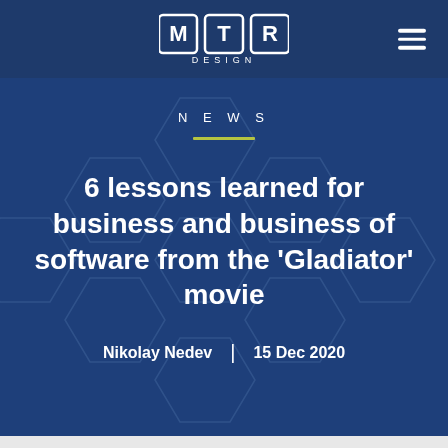MTR Design – navigation header with logo and hamburger menu
NEWS
6 lessons learned for business and business of software from the 'Gladiator' movie
Nikolay Nedev  |  15 Dec 2020